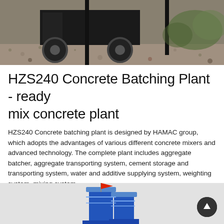[Figure (photo): Outdoor photo of a concrete batching plant machine on gravel ground with metal arms/poles visible and vegetation in the background]
HZS240 Concrete Batching Plant - ready mix concrete plant
HZS240 Concrete batching plant is designed by HAMAC group, which adopts the advantages of various different concrete mixers and advanced technology. The complete plant includes aggregate batcher, aggregate transporting system, cement storage and transporting system, water and additive supplying system, weighting system, mixing system
[Figure (illustration): Illustration of blue cement silos with a red flag on top, partially visible at the bottom of the page]